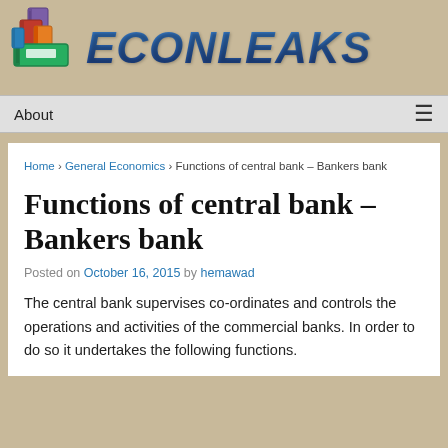[Figure (logo): Stack of colorful books illustration used as site logo]
ECONLEAKS
About ≡
Home › General Economics › Functions of central bank – Bankers bank
Functions of central bank – Bankers bank
Posted on October 16, 2015 by hemawad
The central bank supervises co-ordinates and controls the operations and activities of the commercial banks. In order to do so it undertakes the following functions.